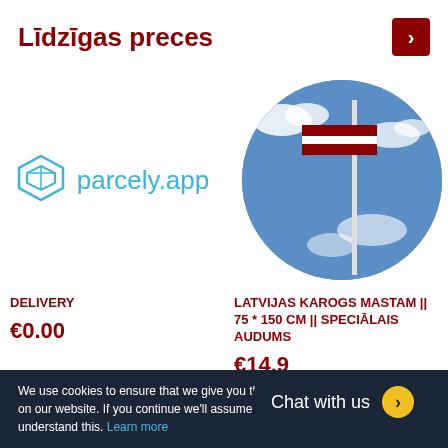Līdzīgas preces
[Figure (logo): parcely.app logo with box icon and text]
[Figure (photo): Latvian flag on a mast against blue cloudy sky, circular crop]
DELIVERY
€0.00
LATVIJAS KAROGS MASTAM || 75 * 150 CM || SPECIĀLAIS AUDUMS
€14.99
We use cookies to ensure that we give you the best experience on our website. If you continue we'll assume that you are understand this. Learn more